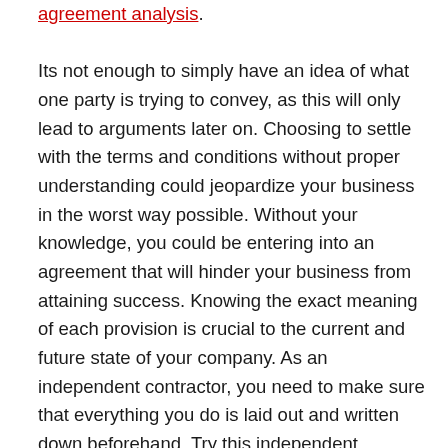agreement analysis. Its not enough to simply have an idea of what one party is trying to convey, as this will only lead to arguments later on. Choosing to settle with the terms and conditions without proper understanding could jeopardize your business in the worst way possible. Without your knowledge, you could be entering into an agreement that will hinder your business from attaining success. Knowing the exact meaning of each provision is crucial to the current and future state of your company. As an independent contractor, you need to make sure that everything you do is laid out and written down beforehand. Try this independent contractor agreement http://www.andrewverboncouer.com/?p=5381. For this sentence, the subject is his little sister and the verb is playing. 17. When gerunds are used as the subject of a